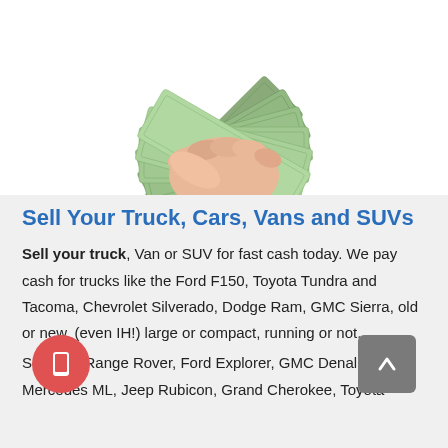[Figure (photo): Hand holding a large fan of $100 US dollar bills against a white background]
Sell Your Truck, Cars, Vans and SUVs
Sell your truck, Van or SUV for fast cash today. We pay cash for trucks like the Ford F150, Toyota Tundra and Tacoma, Chevrolet Silverado, Dodge Ram, GMC Sierra, old or new, (even IH!) large or compact, running or not.
Sell your Range Rover, Ford Explorer, GMC Denali, Mercedes ML, Jeep Rubicon, Grand Cherokee, Toyota